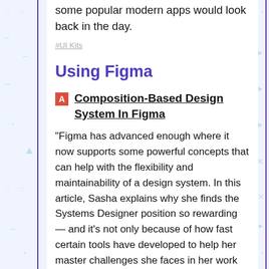some popular modern apps would look back in the day.
#UI Kits
Using Figma
Composition-Based Design System In Figma
“Figma has advanced enough where it now supports some powerful concepts that can help with the flexibility and maintainability of a design system. In this article, Sasha explains why she finds the Systems Designer position so rewarding — and it’s not only because of how fast certain tools have developed to help her master challenges she faces in her work projects.”